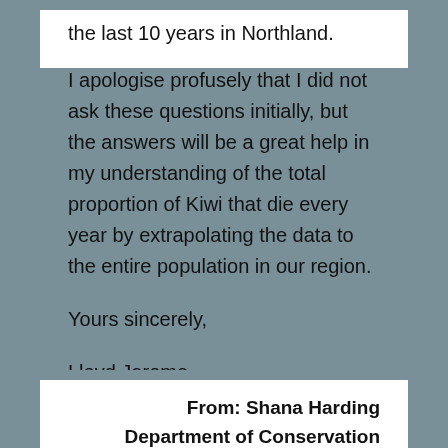the last 10 years in Northland.
I apologise profusely that I did not ask these questions initially, but the answers will be a great help in my understanding of the total proportion of Kiwi that die every year by extrapolating the data to the entire population in our region.
Yours sincerely,
Lloyd Jerome
From: Shana Harding
Department of Conservation
August 08, 2018